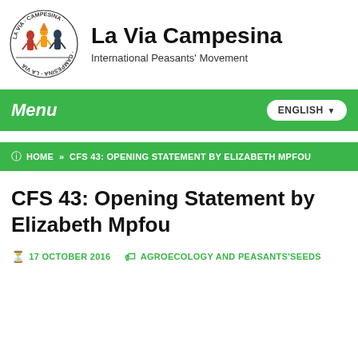[Figure (logo): La Via Campesina logo with circular text and illustrated peasant figures]
La Via Campesina
International Peasants' Movement
Menu   ENGLISH
HOME » CFS 43: OPENING STATEMENT BY ELIZABETH MPFOU
CFS 43: Opening Statement by Elizabeth Mpfou
17 OCTOBER 2016   AGROECOLOGY AND PEASANTS'SEEDS